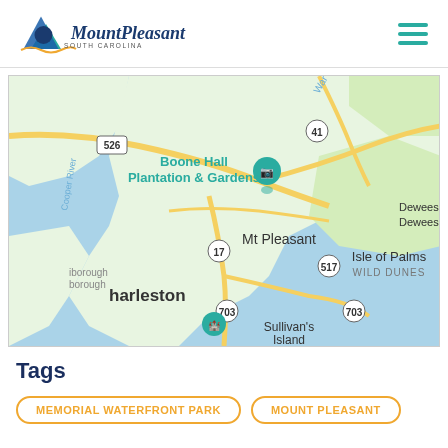Mount Pleasant South Carolina
[Figure (map): Google Maps view showing Mount Pleasant, South Carolina area including Boone Hall Plantation & Gardens, Isle of Palms, Sullivan's Island, Dewees Island, and Charleston. Roads 526, 41, 17, 703, and 517 are visible.]
Tags
MEMORIAL WATERFRONT PARK
MOUNT PLEASANT